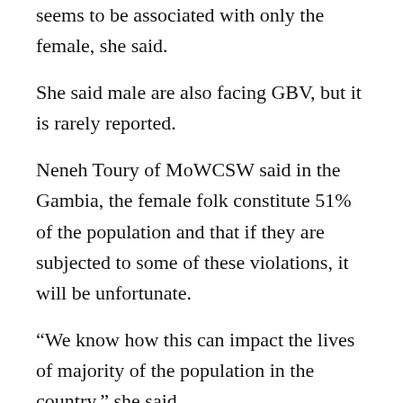seems to be associated with only the female,  she said.
She said male are also facing GBV, but it is rarely reported.
Neneh Toury of MoWCSW said in the Gambia, the female folk constitute 51% of the population and that if they are subjected to some of these violations, it will be unfortunate.
“We know how this can impact the lives of majority of the population in the country,” she said.
Paradise Foundation is a socio-economic development-oriented organization which has been